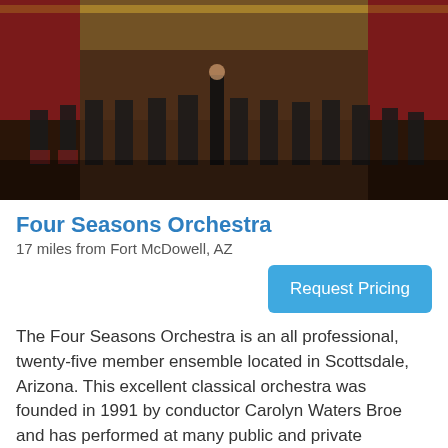[Figure (photo): Orchestra performing on stage in an ornate concert hall with red curtains and gold decorations]
Four Seasons Orchestra
17 miles from Fort McDowell, AZ
Request Pricing
The Four Seasons Orchestra is an all professional, twenty-five member ensemble located in Scottsdale, Arizona. This excellent classical orchestra was founded in 1991 by conductor Carolyn Waters Broe and has performed at many public and private
[Figure (photo): Orchestra musicians performing in a venue with red curtains in background]